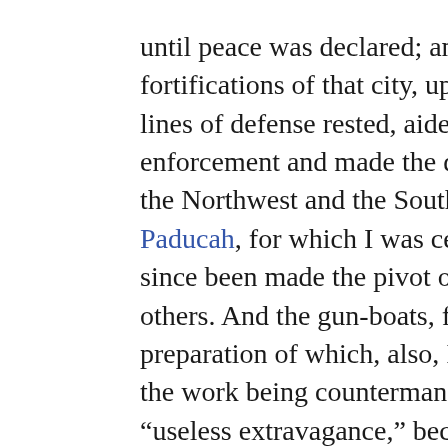until peace was declared; and the fortifications of that city, upon which all lines of defense rested, aided its enforcement and made the dyke between the Northwest and the South. The taking of Paducah, for which I was censured, has since been made the pivot of success to others. And the gun-boats, for the preparation of which, also, I was censured, the work being countermanded as a “useless extravagance,” became historic in the progress of the war.
1 In support of the facts, I quote from the report of General McCulloch to his Secretary of War, at the close of this Missouri campaign: “We met next day at a point between the two armies where